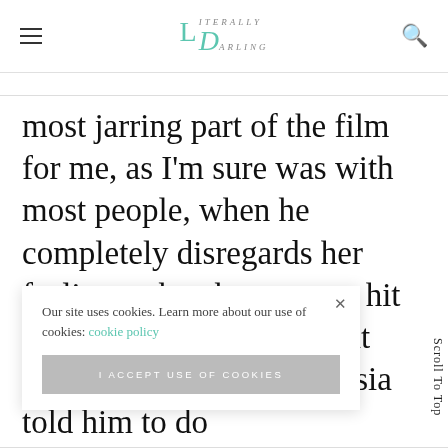Literally Darling
most jarring part of the film for me, as I'm sure was with most people, when he completely disregards her feelings when he starts to hit her as “punishment.” “But Emmy” you say, “Anastasia told him to do [it]” – but if she told… to not, someone
Our site uses cookies. Learn more about our use of cookies: cookie policy
I ACCEPT USE OF COOKIES